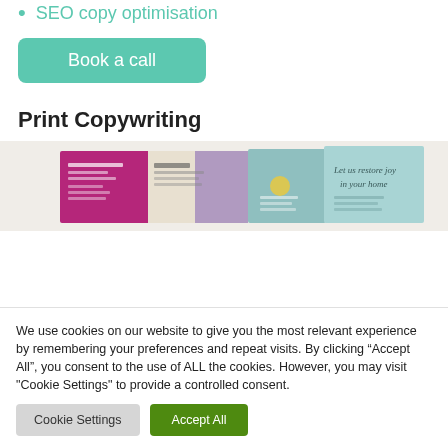SEO copy optimisation
Book a call
Print Copywriting
[Figure (photo): Photo of printed brochures/leaflets, showing two folded brochures side by side. Left one is pink/purple and white with floral imagery, right one is teal/blue with cursive text reading 'Let us restore joy in your home'.]
We use cookies on our website to give you the most relevant experience by remembering your preferences and repeat visits. By clicking “Accept All”, you consent to the use of ALL the cookies. However, you may visit "Cookie Settings" to provide a controlled consent.
Cookie Settings
Accept All